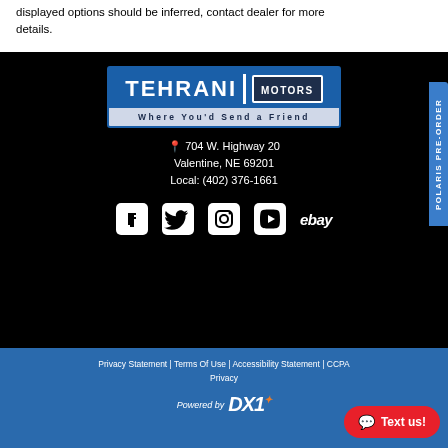displayed options should be inferred, contact dealer for more details.
[Figure (logo): Tehrani Motors logo with tagline 'Where You'd Send a Friend' on blue background]
704 W. Highway 20
Valentine, NE 69201
Local: (402) 376-1661
[Figure (infographic): Social media icons: Facebook, Twitter, Instagram, YouTube, eBay]
Privacy Statement | Terms Of Use | Accessibility Statement | CCPA Privacy
Powered by DX1
POLARIS PRE-ORDER